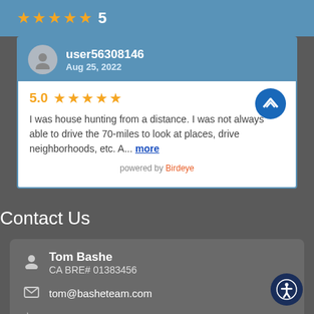[Figure (other): Five gold stars rating with number 5]
[Figure (other): Review card with user56308146, Aug 25 2022, 5.0 stars, review text, Zillow logo, powered by Birdeye]
Contact Us
Tom Bashe
CA BRE# 01383456
tom@basheteam.com
919.856.6069